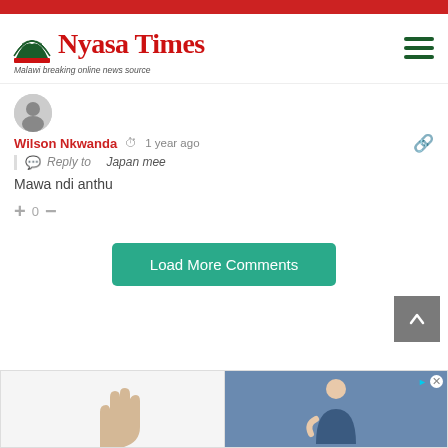Nyasa Times — Malawi breaking online news source
Wilson Nkwanda · 1 year ago
Reply to Japan mee
Mawa ndi anthu
+ 0 −
Load More Comments
[Figure (screenshot): Advertisement banner at bottom with two ad panels showing a hand and a person in blue]
[Figure (screenshot): Back to top arrow button (grey square with upward chevron)]